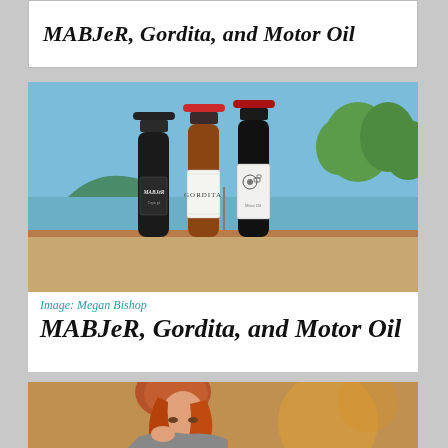MABJeR, Gordita, and Motor Oil
[Figure (photo): Three beer bottles photographed outdoors with a waterfront and modern building in background. Left bottle: dark with MABJeR label. Center bottle: with GORDITA label. Right bottle: with Motor Oil label including engine illustration.]
Image: Megan Bishop
MABJeR, Gordita, and Motor Oil
[Figure (photo): Partial photo of a woman with red hair looking down, warm indoor lighting, blurred background.]